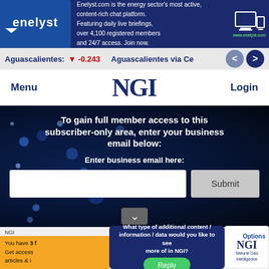[Figure (logo): Enelyst banner ad: logo on left, text about energy chat platform, device icon on right. Dark navy blue background.]
Aguascalientes: ▼ -0.243    Aguascalientes via Ce
Menu   NGI   Login
subscriber-only area, enter your business email below:
Enter business email here:
Submit
NGI
E&P
Un
You have 3 f
Get access 
articles & i
What type of additional content / information / data would you like to see more of in NGI?
Reply
Options
NGI
Natural Gas
Intelligence